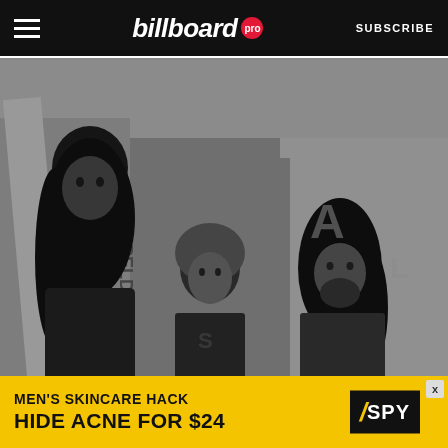billboard pro | SUBSCRIBE
[Figure (photo): Black and white photograph of Dave Grohl, Kurt Cobain and Krist Novoselic of Nirvana photographed in 1991. Three young men with long hair standing against a graffiti-covered wall.]
Dave Grohl, Kurt Cobain and Krist Novoselic of Nirvana photographed in 1991.
Paul Bergen/Redferns
[Figure (other): Advertisement banner: MEN'S SKINCARE HACK / HIDE ACNE FOR $24 with SPY logo]